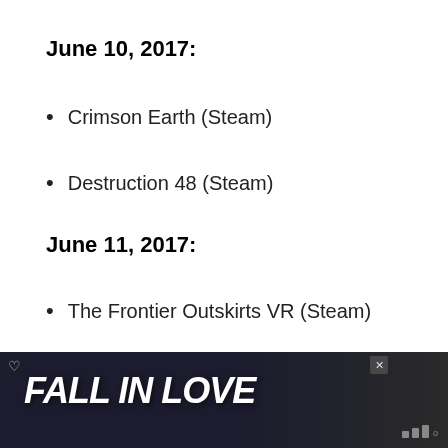June 10, 2017:
Crimson Earth (Steam)
Destruction 48 (Steam)
June 11, 2017:
The Frontier Outskirts VR (Steam)
June 12, 2017:
[Figure (screenshot): Ad banner showing 'FALL IN LOVE' with a dog image at the bottom of the page, with a TV schedule widget overlay on the right side showing 'WHAT'S NEXT - Today's Complete T...']